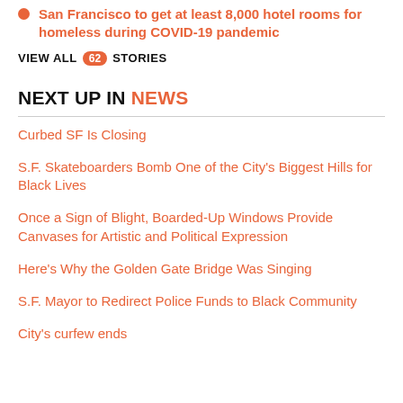San Francisco to get at least 8,000 hotel rooms for homeless during COVID-19 pandemic
VIEW ALL 62 STORIES
NEXT UP IN NEWS
Curbed SF Is Closing
S.F. Skateboarders Bomb One of the City's Biggest Hills for Black Lives
Once a Sign of Blight, Boarded-Up Windows Provide Canvases for Artistic and Political Expression
Here's Why the Golden Gate Bridge Was Singing
S.F. Mayor to Redirect Police Funds to Black Community
City's curfew ends